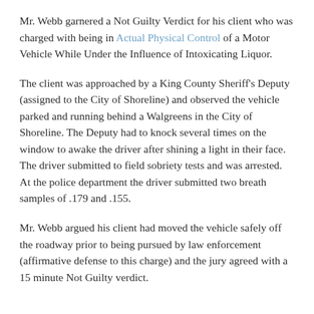Mr. Webb garnered a Not Guilty Verdict for his client who was charged with being in Actual Physical Control of a Motor Vehicle While Under the Influence of Intoxicating Liquor.
The client was approached by a King County Sheriff's Deputy (assigned to the City of Shoreline) and observed the vehicle parked and running behind a Walgreens in the City of Shoreline. The Deputy had to knock several times on the window to awake the driver after shining a light in their face. The driver submitted to field sobriety tests and was arrested. At the police department the driver submitted two breath samples of .179 and .155.
Mr. Webb argued his client had moved the vehicle safely off the roadway prior to being pursued by law enforcement (affirmative defense to this charge) and the jury agreed with a 15 minute Not Guilty verdict.